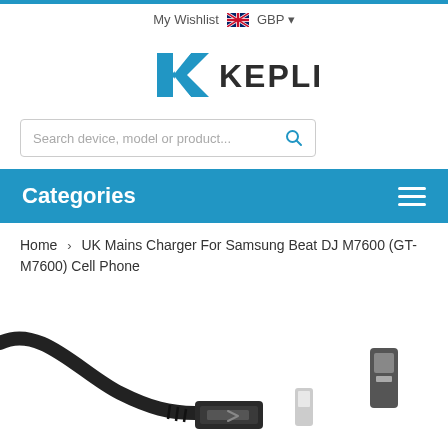My Wishlist   GBP
[Figure (logo): Keple logo with blue geometric K icon and KEPLE text in dark gray]
Search device, model or product...
Categories
Home > UK Mains Charger For Samsung Beat DJ M7600 (GT-M7600) Cell Phone
[Figure (photo): Photo of USB charger cable connectors on white background]